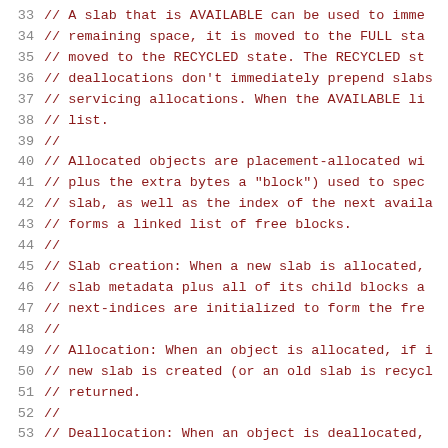Code listing lines 33-54, C++ comment block describing slab allocator states and operations
33  // A slab that is AVAILABLE can be used to imme
34  // remaining space, it is moved to the FULL sta
35  // moved to the RECYCLED state. The RECYCLED sta
36  // deallocations don't immediately prepend slabs
37  // servicing allocations. When the AVAILABLE lis
38  // list.
39  //
40  // Allocated objects are placement-allocated wi
41  // plus the extra bytes a "block") used to spec
42  // slab, as well as the index of the next availa
43  // forms a linked list of free blocks.
44  //
45  // Slab creation: When a new slab is allocated,
46  // slab metadata plus all of its child blocks a
47  // next-indices are initialized to form the fre
48  //
49  // Allocation: When an object is allocated, if i
50  // new slab is created (or an old slab is recyc
51  // returned.
52  //
53  // Deallocation: When an object is deallocated,
54  //